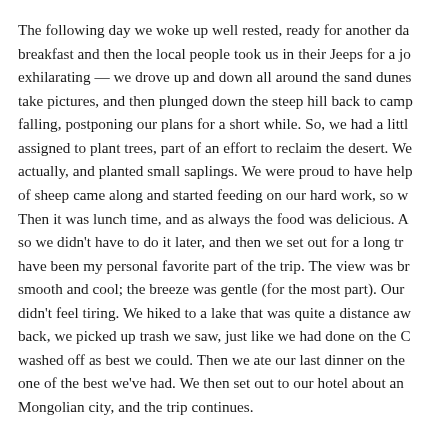The following day we woke up well rested, ready for another da breakfast and then the local people took us in their Jeeps for a jo exhilarating — we drove up and down all around the sand dunes take pictures, and then plunged down the steep hill back to camp falling, postponing our plans for a short while. So, we had a litt assigned to plant trees, part of an effort to reclaim the desert. W actually, and planted small saplings. We were proud to have hel of sheep came along and started feeding on our hard work, so w Then it was lunch time, and as always the food was delicious. A so we didn't have to do it later, and then we set out for a long tr have been my personal favorite part of the trip. The view was br smooth and cool; the breeze was gentle (for the most part). Our didn't feel tiring. We hiked to a lake that was quite a distance aw back, we picked up trash we saw, just like we had done on the C washed off as best we could. Then we ate our last dinner on the one of the best we've had. We then set out to our hotel about an Mongolian city, and the trip continues.